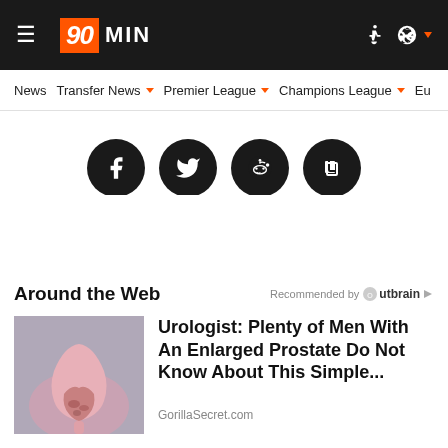90MIN — Navigation bar with News, Transfer News, Premier League, Champions League, Eu...
[Figure (screenshot): Social share buttons: Facebook, Twitter, Reddit, Copy link — black circles with white icons]
Around the Web
Recommended by Outbrain
[Figure (photo): Medical illustration of enlarged prostate anatomy]
Urologist: Plenty of Men With An Enlarged Prostate Do Not Know About This Simple...
GorillaSecret.com